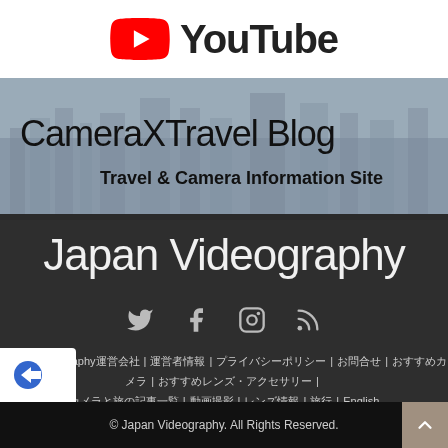[Figure (logo): YouTube logo banner - red play button icon with YouTube text]
[Figure (screenshot): CameraxTravel Blog banner with city skyline background. Title: CameraxTravel Blog. Subtitle: Travel & Camera Information Site]
Japan Videography
[Figure (infographic): Social media icons: Twitter bird, Facebook f, Instagram camera, RSS feed symbol]
Japan Videography運営会社 | 運営者情報 | プライバシーポリシー | お問合せ | おすすめカメラ | おすすめレンズ・アクセサリー | カメラと旅の記事一覧 | 動画撮影 | レンズ情報 | 旅行 | English
© Japan Videography. All Rights Reserved.